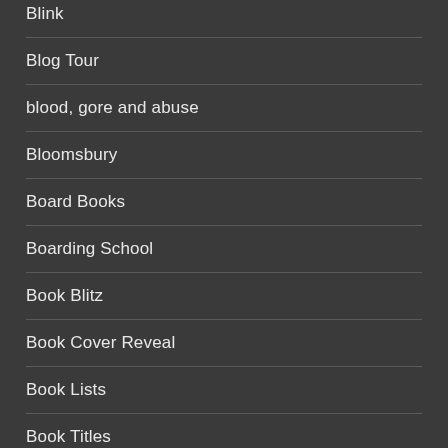Blink
Blog Tour
blood, gore and abuse
Bloomsbury
Board Books
Boarding School
Book Blitz
Book Cover Reveal
Book Lists
Book Titles